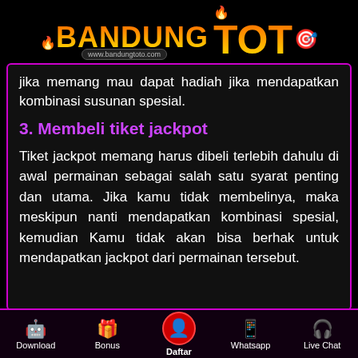BANDUNG TOTO — www.bandungtoto.com
jika memang mau dapat hadiah jika mendapatkan kombinasi susunan spesial.
3. Membeli tiket jackpot
Tiket jackpot memang harus dibeli terlebih dahulu di awal permainan sebagai salah satu syarat penting dan utama. Jika kamu tidak membelinya, maka meskipun nanti mendapatkan kombinasi spesial, kemudian Kamu tidak akan bisa berhak untuk mendapatkan jackpot dari permainan tersebut.
Download | Bonus | Daftar | Whatsapp | Live Chat